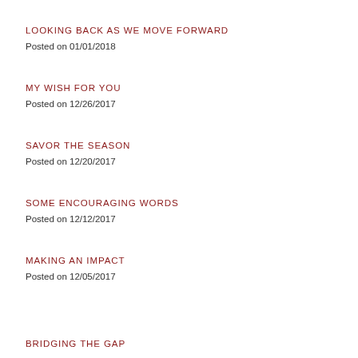LOOKING BACK AS WE MOVE FORWARD
Posted on 01/01/2018
MY WISH FOR YOU
Posted on 12/26/2017
SAVOR THE SEASON
Posted on 12/20/2017
SOME ENCOURAGING WORDS
Posted on 12/12/2017
MAKING AN IMPACT
Posted on 12/05/2017
BRIDGING THE GAP